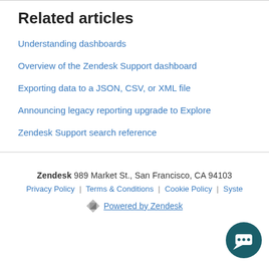Related articles
Understanding dashboards
Overview of the Zendesk Support dashboard
Exporting data to a JSON, CSV, or XML file
Announcing legacy reporting upgrade to Explore
Zendesk Support search reference
Zendesk  989 Market St., San Francisco, CA 94103  Privacy Policy | Terms & Conditions | Cookie Policy | Syste...  Powered by Zendesk